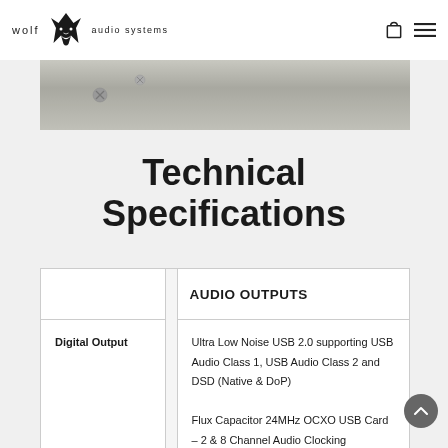wolf audio systems
[Figure (photo): Close-up product photo of audio hardware component, showing metallic surface with screws, grayscale/silver tones]
Technical Specifications
|  |  | AUDIO OUTPUTS |
| --- | --- | --- |
| Digital Output |  | Ultra Low Noise USB 2.0 supporting USB Audio Class 1, USB Audio Class 2 and DSD (Native & DoP)
Flux Capacitor 24MHz OCXO USB Card – 2 & 8 Channel Audio Clocking |